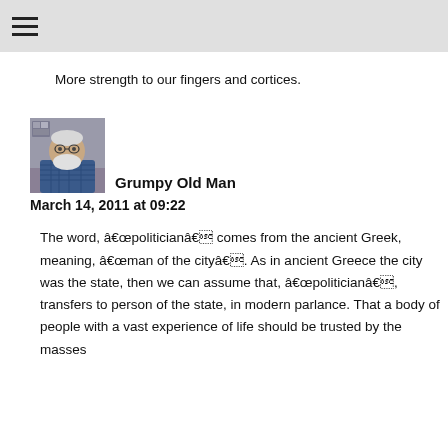≡
More strength to our fingers and cortices.
[Figure (photo): Profile photo of an older man with a white beard wearing a plaid shirt, sitting indoors.]
Grumpy Old Man
March 14, 2011 at 09:22
The word, âpoliticianâ comes from the ancient Greek, meaning, âman of the cityâ. As in ancient Greece the city was the state, then we can assume that, âpoliticianâ, transfers to person of the state, in modern parlance. That a body of people with a vast experience of life should be trusted by the masses